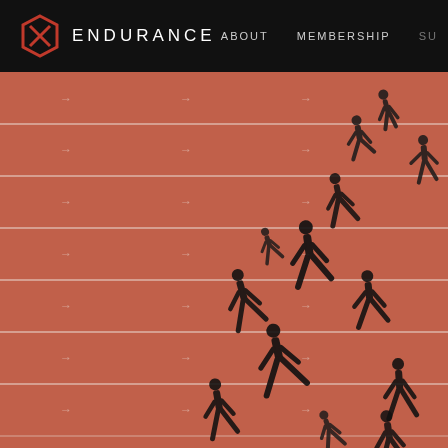ENDURANCE — ABOUT  MEMBERSHIP  SU
[Figure (photo): Aerial overhead view of runners on a red athletic track, showing silhouettes of athletes and their long shadows cast across multiple lanes marked with white lines and arrow indicators]